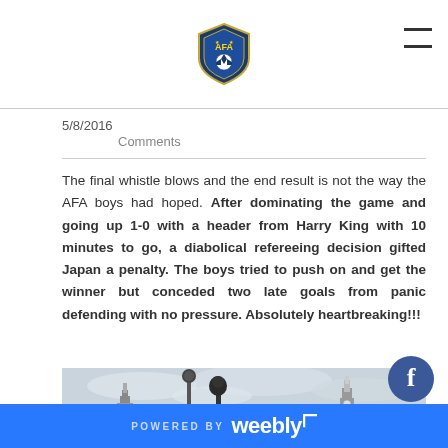AFA logo and navigation header
5/8/2016
Comments
The final whistle blows and the end result is not the way the AFA boys had hoped. After dominating the game and going up 1-0 with a header from Harry King with 10 minutes to go, a diabolical refereeing decision gifted Japan a penalty. The boys tried to push on and get the winner but conceded two late goals from panic defending with no pressure. Absolutely heartbreaking!!!
[Figure (photo): Outdoor photo showing London skyline with Big Ben clock tower and lamp posts against a cloudy grey sky]
POWERED BY weebly